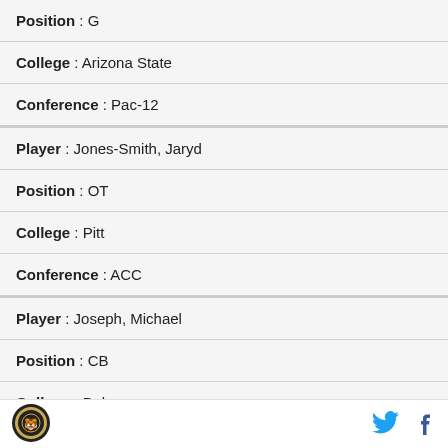| Position : G |
| College : Arizona State |
| Conference : Pac-12 |
| Player : Jones-Smith, Jaryd |
| Position : OT |
| College : Pitt |
| Conference : ACC |
| Player : Joseph, Michael |
| Position : CB |
| College : Dubuque |
| Conference : Iowa Intercollegiate |
[Figure (logo): Sports team logo circular emblem]
[Figure (logo): Twitter bird icon in cyan]
[Figure (logo): Facebook f icon in blue]